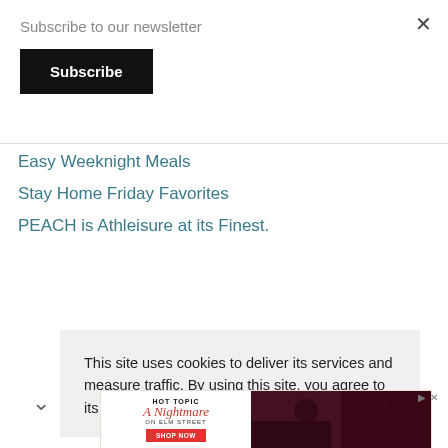Subscribe to our newsletter
Subscribe
Easy Weeknight Meals
Stay Home Friday Favorites
PEACH is Athleisure at its Finest.
This site uses cookies to deliver its services and measure traffic. By using this site, you agree to its use of cookies. Learn more
[Figure (screenshot): Hot Topic advertisement banner for A Nightmare on Elm Street merchandise with Shop Now button and photo of two people in dark clothing]